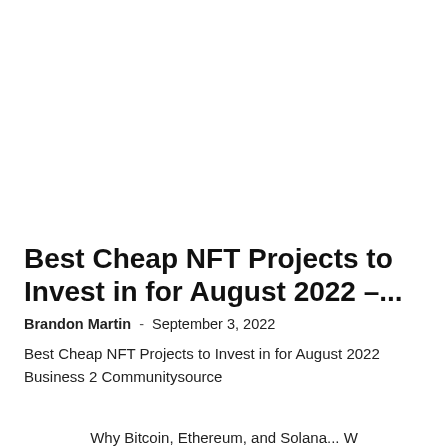Best Cheap NFT Projects to Invest in for August 2022 –...
Brandon Martin  -  September 3, 2022
Best Cheap NFT Projects to Invest in for August 2022  Business 2 Communitysource
Why Bitcoin, Ethereum, and Solana... W